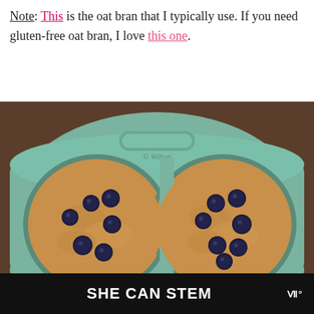Note: This is the oat bran that I typically use. If you need gluten-free oat bran, I love this one.
[Figure (photo): Overhead view of a teal/green Wilton jumbo muffin pan containing two large muffin cups filled with baked oat bran batter topped with fresh blueberries.]
SHE CAN STEM